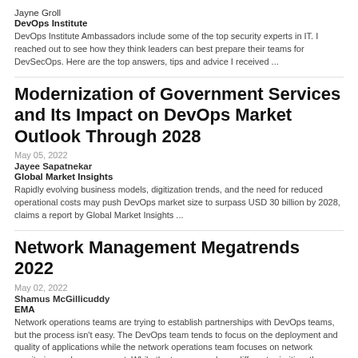Jayne Groll
DevOps Institute
DevOps Institute Ambassadors include some of the top security experts in IT. I reached out to see how they think leaders can best prepare their teams for DevSecOps. Here are the top answers, tips and advice I received ...
Modernization of Government Services and Its Impact on DevOps Market Outlook Through 2028
May 05, 2022
Jayee Sapatnekar
Global Market Insights
Rapidly evolving business models, digitization trends, and the need for reduced operational costs may push DevOps market size to surpass USD 30 billion by 2028, claims a report by Global Market Insights ...
Network Management Megatrends 2022
May 02, 2022
Shamus McGillicuddy
EMA
Network operations teams are trying to establish partnerships with DevOps teams, but the process isn't easy. The DevOps team tends to focus on the deployment and quality of applications while the network operations team focuses on network monitoring and management. While the two groups have different priorities, there are opportunities that the two can share them ...